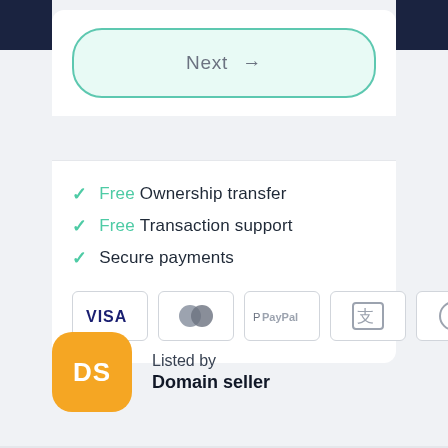Next →
✓ Free Ownership transfer
✓ Free Transaction support
✓ Secure payments
[Figure (infographic): Payment method icons: VISA, Mastercard, PayPal, Alipay, Bitcoin]
Listed by
Domain seller